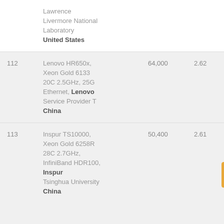| Rank | System | Cores | Rmax (PFlop/s) | Rpeak (PFlop/s) |
| --- | --- | --- | --- | --- |
|  | Lawrence
Livermore National
Laboratory
United States |  |  |  |
| 112 | Lenovo HR650x, Xeon Gold 6133 20C 2.5GHz, 25G Ethernet, Lenovo Service Provider T
China | 64,000 | 2.62 | 5. |
| 113 | Inspur TS10000, Xeon Gold 6258R 28C 2.7GHz, InfiniBand HDR100, Inspur
Tsinghua University
China | 50,400 | 2.61 | 4. |